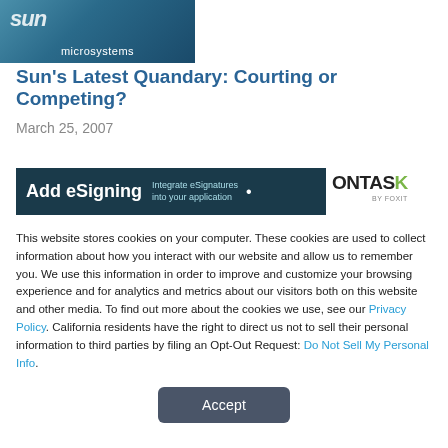[Figure (photo): Sun Microsystems banner/logo image with blue gradient background and 'microsystems' text]
Sun's Latest Quandary: Courting or Competing?
March 25, 2007
[Figure (other): Advertisement banner: 'Add eSigning – Integrate eSignatures into your application' with ONTASK logo]
This website stores cookies on your computer. These cookies are used to collect information about how you interact with our website and allow us to remember you. We use this information in order to improve and customize your browsing experience and for analytics and metrics about our visitors both on this website and other media. To find out more about the cookies we use, see our Privacy Policy. California residents have the right to direct us not to sell their personal information to third parties by filing an Opt-Out Request: Do Not Sell My Personal Info.